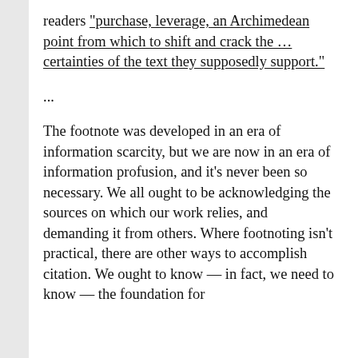readers “purchase, leverage, an Archimedean point from which to shift and crack the … certainties of the text they supposedly support.”
...
The footnote was developed in an era of information scarcity, but we are now in an era of information profusion, and it’s never been so necessary. We all ought to be acknowledging the sources on which our work relies, and demanding it from others. Where footnoting isn’t practical, there are other ways to accomplish citation. We ought to know — in fact, we need to know — the foundation for